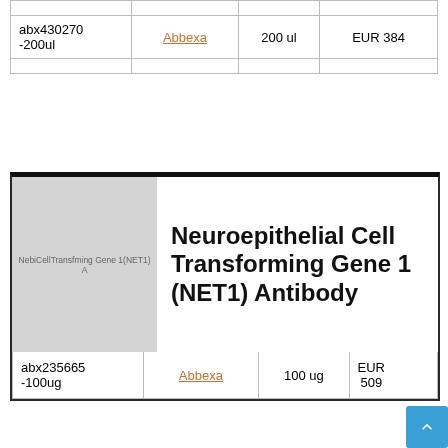|  |  |  |  |
| abx430270-200ul | Abbexa | 200 ul | EUR 384 |
|  |  |  |  |
[Figure (photo): Product image placeholder for Neuroepithelial Cell Transforming Gene 1 (NET1) Antibody showing grey area with faint text label]
Neuroepithelial Cell Transforming Gene 1 (NET1) Antibody
| abx235665-100ug | Abbexa | 100 ug | EUR 509 |